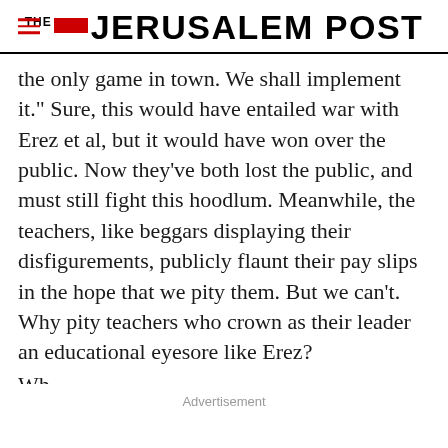THE JERUSALEM POST
the only game in town. We shall implement it." Sure, this would have entailed war with Erez et al, but it would have won over the public. Now they've both lost the public, and must still fight this hoodlum. Meanwhile, the teachers, like beggars displaying their disfigurements, publicly flaunt their pay slips in the hope that we pity them. But we can't. Why pity teachers who crown as their leader an educational eyesore like Erez?
Advertisement